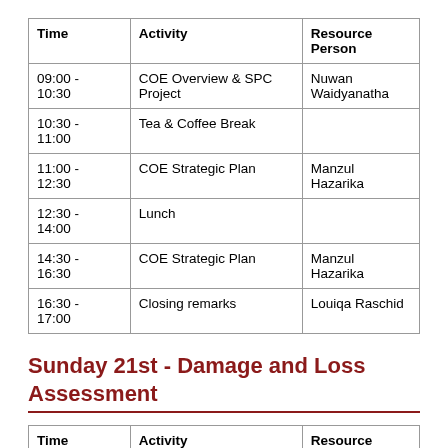| Time | Activity | Resource Person |
| --- | --- | --- |
| 09:00 - 10:30 | COE Overview & SPC Project | Nuwan Waidyanatha |
| 10:30 - 11:00 | Tea & Coffee Break |  |
| 11:00 - 12:30 | COE Strategic Plan | Manzul Hazarika |
| 12:30 - 14:00 | Lunch |  |
| 14:30 - 16:30 | COE Strategic Plan | Manzul Hazarika |
| 16:30 - 17:00 | Closing remarks | Louiqa Raschid |
Sunday 21st - Damage and Loss Assessment
| Time | Activity | Resource Person |
| --- | --- | --- |